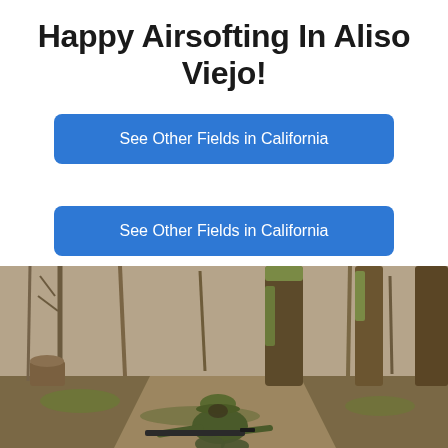Happy Airsofting In Aliso Viejo!
See Other Fields in California
See Other Fields in California
[Figure (photo): A person in camouflage gear and a boonie hat crouching near a large tree trunk in a bare winter woodland, holding an airsoft rifle. Background shows leafless trees and a dirt path.]